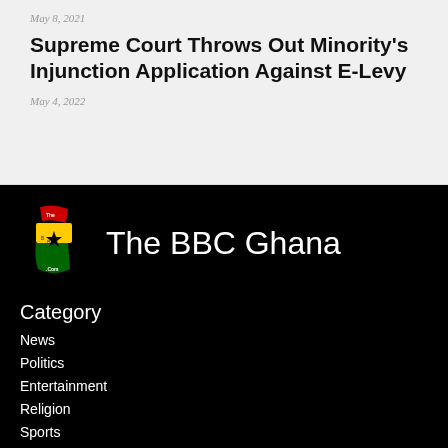May 8, 2021
Supreme Court Throws Out Minority's Injunction Application Against E-Levy
May 4, 2022
[Figure (logo): The BBC Ghana logo — outline of Ghana map in red, yellow, green with black star and text 'The BBC Ghana.Com']
The BBC Ghana
Category
News
Politics
Entertainment
Religion
Sports